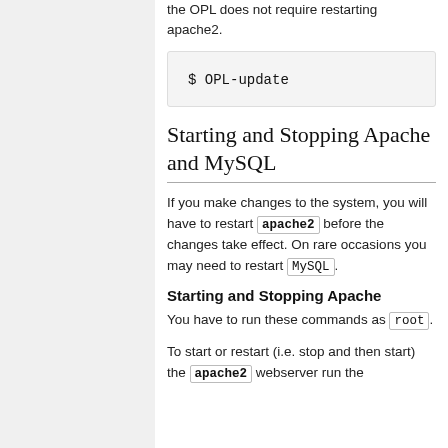the OPL does not require restarting apache2.
$ OPL-update
Starting and Stopping Apache and MySQL
If you make changes to the system, you will have to restart apache2 before the changes take effect. On rare occasions you may need to restart MySQL.
Starting and Stopping Apache
You have to run these commands as root.
To start or restart (i.e. stop and then start) the apache2 webserver run the